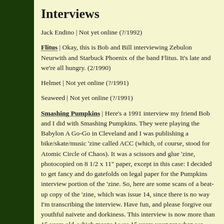Interviews
Jack Endino | Not yet online (?/1992)
Flitus | Okay, this is Bob and Bill interviewing Zebulon Neurwith and Starbuck Phoenix of the band Flitus. It's late and we're all hungry. (2/1990)
Helmet | Not yet online (?/1991)
Seaweed | Not yet online (?/1991)
Smashing Pumpkins | Here's a 1991 interview my friend Bob and I did with Smashing Pumpkins. They were playing the Babylon A Go-Go in Cleveland and I was publishing a bike/skate/music 'zine called ACC (which, of course, stood for Atomic Circle of Chaos). It was a scissors and glue 'zine, photocopied on 8 1/2 x 11" paper, except in this case: I decided to get fancy and do gatefolds on legal paper for the Pumpkins interview portion of the 'zine. So, here are some scans of a beat-up copy of the 'zine, which was issue 14, since there is no way I'm transcribing the interview. Have fun, and please forgive our youthful naivete and dorkiness. This interview is now more than 15 years old, which means I was 15 years younger when we asked all these questions.